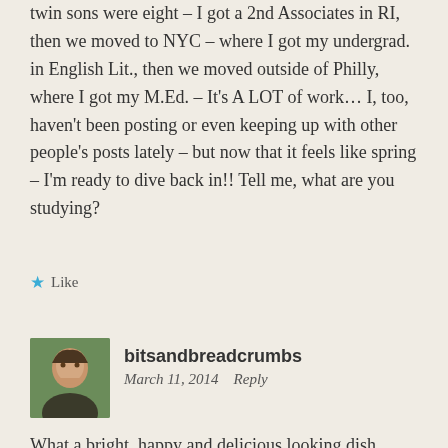twin sons were eight – I got a 2nd Associates in RI, then we moved to NYC – where I got my undergrad. in English Lit., then we moved outside of Philly, where I got my M.Ed. – It's A LOT of work… I, too, haven't been posting or even keeping up with other people's posts lately – but now that it feels like spring – I'm ready to dive back in!! Tell me, what are you studying?
★ Like
bitsandbreadcrumbs
March 11, 2014   Reply
What a bright, happy and delicious looking dish, Cecile! I love that you were inspired by your experience in Malta. Moroccan food is something I